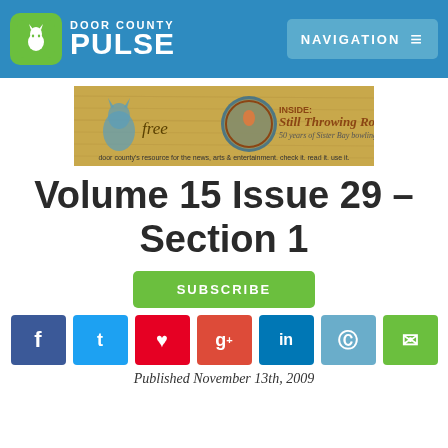DOOR COUNTY PULSE — NAVIGATION
[Figure (illustration): Door County Pulse magazine cover thumbnail — tan/wood background with wolf illustration, text 'free', circular logo, 'INSIDE: Still Throwing Rocks 50 years of Sister Bay bowling', tagline at bottom.]
Volume 15 Issue 29 – Section 1
SUBSCRIBE
f t Pinterest g+ in reddit email
Published November 13th, 2009